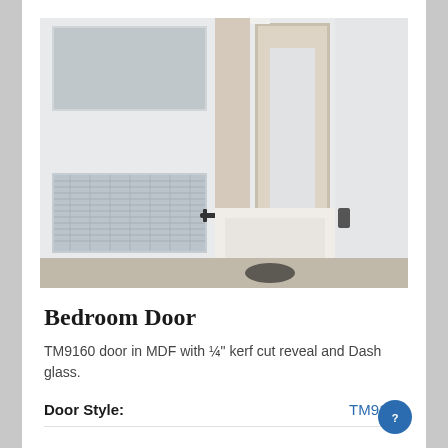[Figure (photo): Photo of a white bedroom door with checkered/ribbed glass panel insert and dark lever handle, showing a hallway and bed in background]
Bedroom Door
TM9160 door in MDF with ¼" kerf cut reveal and Dash glass.
| Door Style: | TM9160 |